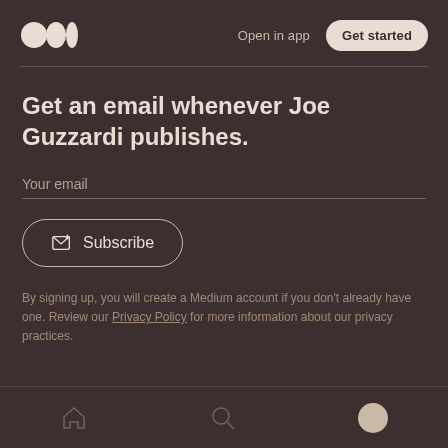Open in app  Get started
Get an email whenever Joe Guzzardi publishes.
Your email
Subscribe
By signing up, you will create a Medium account if you don't already have one. Review our Privacy Policy for more information about our privacy practices.
Home  Search  Profile